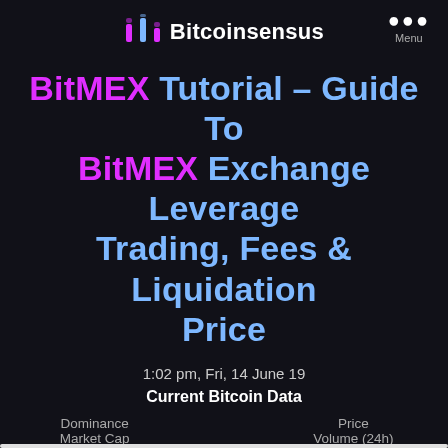Bitcoinsensus
BitMEX Tutorial – Guide To BitMEX Exchange Leverage Trading, Fees & Liquidation Price
1:02 pm, Fri, 14 June 19
Current Bitcoin Data
| Dominance | Price |
| --- | --- |
| Market Cap | Volume (24h) |
1h  12h  1d  7d  1m  1y